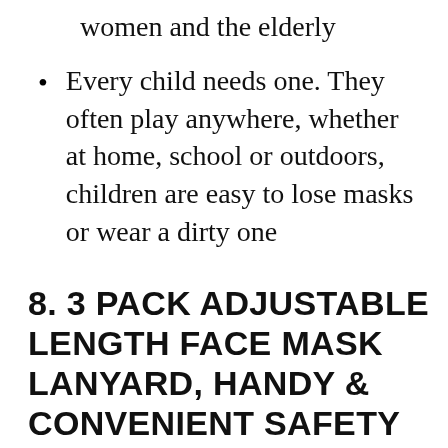women and the elderly
Every child needs one. They often play anywhere, whether at home, school or outdoors, children are easy to lose masks or wear a dirty one
8. 3 PACK ADJUSTABLE LENGTH FACE MASK LANYARD, HANDY & CONVENIENT SAFETY MASK HOLDER HANGER REST FOR KIDS WOMEN MEN SENIOR ADULTS COMFORTABLE AROUND T